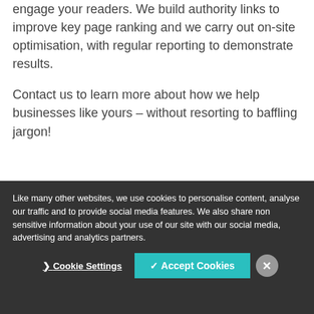engage your readers. We build authority links to improve key page ranking and we carry out on-site optimisation, with regular reporting to demonstrate results.
Contact us to learn more about how we help businesses like yours – without resorting to baffling jargon!
Like many other websites, we use cookies to personalise content, analyse our traffic and to provide social media features. We also share non sensitive information about your use of our site with our social media, advertising and analytics partners.